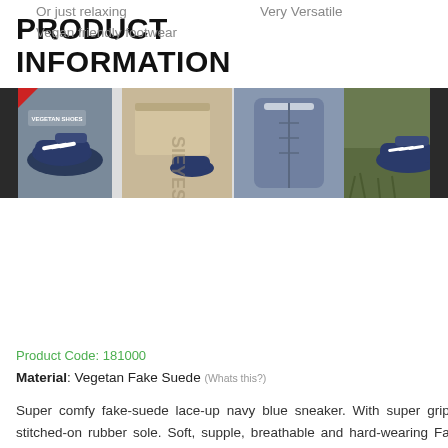Or just relaxing
Vegan friendly footwear
Very Versatile
[Figure (photo): Four product photos: navy blue sneaker from side, shoe in box, close-up of tongue/collar, sneaker on grass]
PRODUCT INFORMATION
Product Code: 181000
Material: Vegetan Fake Suede (Whats this?)
Super comfy fake-suede lace-up navy blue sneaker. With super grippy stitched-on rubber sole. Soft, supple, breathable and hard-wearing Faux suede uppers. With padded tongue, collar and insoles for maximum comfort.